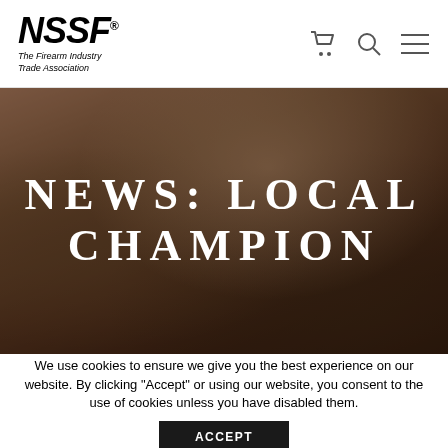NSSF® The Firearm Industry Trade Association
[Figure (photo): Hero banner photo showing hands typing on a laptop keyboard, dark warm-toned with overlay text reading NEWS: LOCAL CHAMPION]
NEWS: LOCAL CHAMPION
We use cookies to ensure we give you the best experience on our website. By clicking "Accept" or using our website, you consent to the use of cookies unless you have disabled them.
ACCEPT